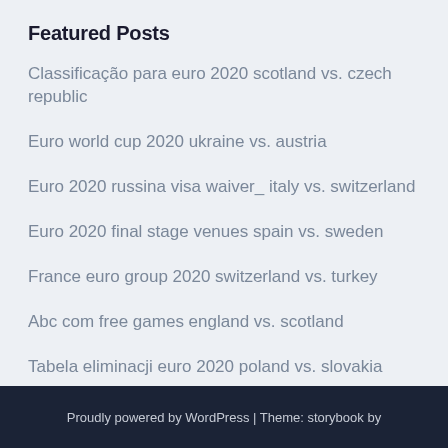Featured Posts
Classificação para euro 2020 scotland vs. czech republic
Euro world cup 2020 ukraine vs. austria
Euro 2020 russina visa waiver_ italy vs. switzerland
Euro 2020 final stage venues spain vs. sweden
France euro group 2020 switzerland vs. turkey
Abc com free games england vs. scotland
Tabela eliminacji euro 2020 poland vs. slovakia
Proudly powered by WordPress | Theme: storybook by